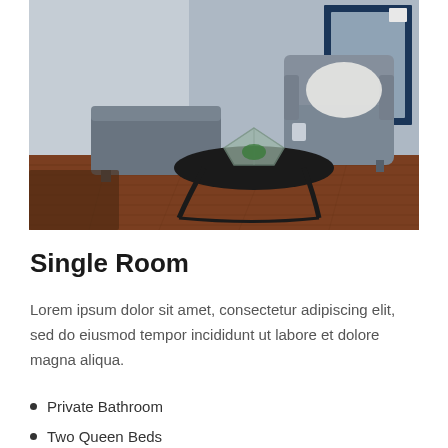[Figure (photo): Hotel room seating area with a grey armchair with white pillow, a grey cubic ottoman, a round black coffee table with a geometric glass terrarium containing a plant, hardwood floors, and a blue-framed mirror in the background.]
Single Room
Lorem ipsum dolor sit amet, consectetur adipiscing elit, sed do eiusmod tempor incididunt ut labore et dolore magna aliqua.
Private Bathroom
Two Queen Beds